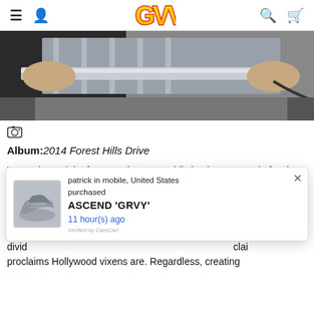GVV (logo) — navigation header
[Figure (photo): Person's hands holding a metallic object, cropped hero image]
[Figure (other): Camera icon]
Album: 2014 Forest Hills Drive
"No Role Modelz" features the most addicting instrumental of Cole's career. The royal horns combined with Cole's imposing flow creates an anthem for kings. As soon as Cole raps, "First thing's first, rest in peace Uncle Phil, for real," he captures the liste...ut sinc...en divid...clai...bridge proclaims Hollywood vixens are. Regardless, creating
[Figure (other): Popup notification: patrick in mobile, United States purchased ASCEND 'GRVY' 11 hour(s) ago. Verified by CareCart.]